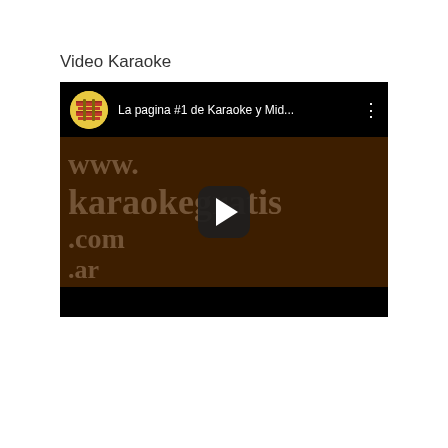Video Karaoke
[Figure (screenshot): Embedded YouTube video thumbnail showing a karaoke website video. Top bar shows channel icon and title 'La pagina #1 de Karaoke y Mid...' with a three-dot menu. The video content shows a dark brown background with watermark text reading 'www.karaokegratis.com.ar' and a play button in the center. Bottom bar is black.]